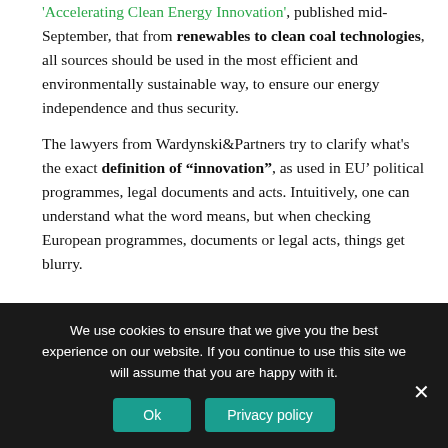'Accelerating Clean Energy Innovation', published mid-September, that from renewables to clean coal technologies, all sources should be used in the most efficient and environmentally sustainable way, to ensure our energy independence and thus security.
The lawyers from Wardynski&Partners try to clarify what's the exact definition of "innovation", as used in EU' political programmes, legal documents and acts. Intuitively, one can understand what the word means, but when checking European programmes, documents or legal acts, things get blurry.
This publication wouldn't have been complete without covering the Innovation Fund and its design. The
We use cookies to ensure that we give you the best experience on our website. If you continue to use this site we will assume that you are happy with it.